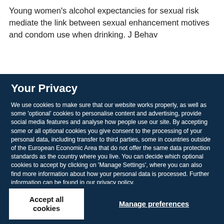Young women's alcohol expectancies for sexual risk mediate the link between sexual enhancement motives and condom use when drinking. J Behav
Your Privacy
We use cookies to make sure that our website works properly, as well as some 'optional' cookies to personalise content and advertising, provide social media features and analyse how people use our site. By accepting some or all optional cookies you give consent to the processing of your personal data, including transfer to third parties, some in countries outside of the European Economic Area that do not offer the same data protection standards as the country where you live. You can decide which optional cookies to accept by clicking on 'Manage Settings', where you can also find more information about how your personal data is processed. Further information can be found in our privacy policy.
Accept all cookies
Manage preferences